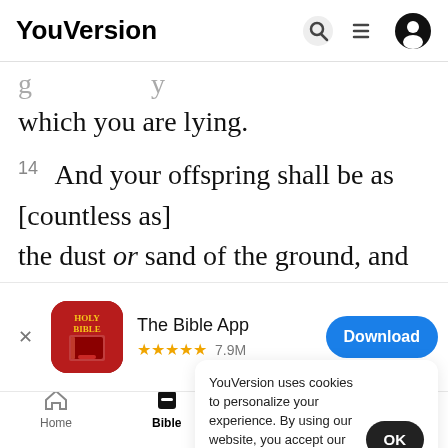YouVersion
which you are lying.
14 And your offspring shall be as [countless as] the dust or sand of the ground, and you shall spread abroad to the west and the east and the
[Figure (screenshot): The Bible App download banner with Holy Bible icon, 5 stars, 7.9M rating, and a Download button]
bless th
Acts 3:
15 A
YouVersion uses cookies to personalize your experience. By using our website, you accept our use of cookies as described in our Privacy Policy.
Home  Bible  Plans  Videos